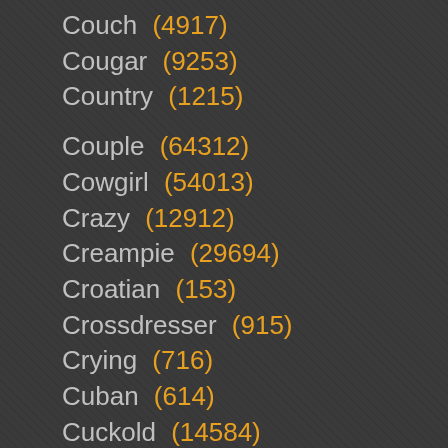Couch (4917)
Cougar (9253)
Country (1215)
Couple (64312)
Cowgirl (54013)
Crazy (12912)
Creampie (29694)
Croatian (153)
Crossdresser (915)
Crying (716)
Cuban (614)
Cuckold (14584)
Cum (52258)
Cum In Mouth (30055)
Cum Swallowing (20864)